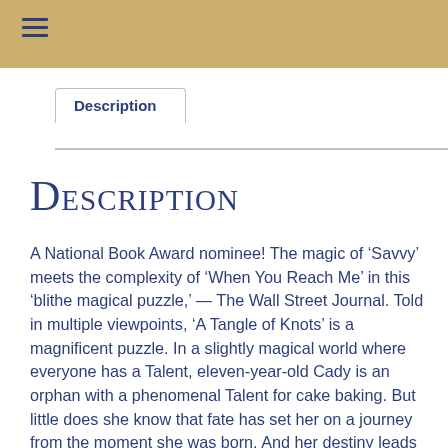Description
Description
A National Book Award nominee! The magic of ‘Savvy’ meets the complexity of ‘When You Reach Me’ in this ‘blithe magical puzzle,’ — The Wall Street Journal. Told in multiple viewpoints, ‘A Tangle of Knots’ is a magnificent puzzle. In a slightly magical world where everyone has a Talent, eleven-year-old Cady is an orphan with a phenomenal Talent for cake baking. But little does she know that fate has set her on a journey from the moment she was born. And her destiny leads her to a mysterious address that houses a lost luggage emporium, an old recipe, a family of children searching for